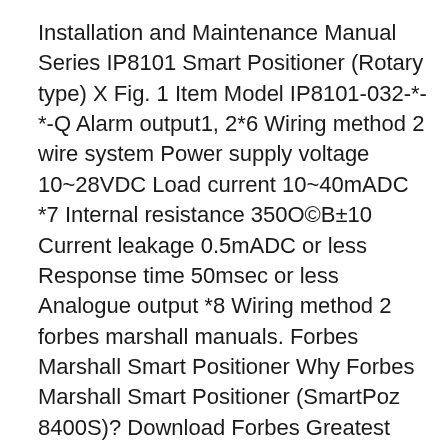Installation and Maintenance Manual Series IP8101 Smart Positioner (Rotary type) X Fig. 1 Item Model IP8101-032-*-*-Q Alarm output1, 2*6 Wiring method 2 wire system Power supply voltage 10~28VDC Load current 10~40mADC *7 Internal resistance 350O©B±10 Current leakage 0.5mADC or less Response time 50msec or less Analogue output *8 Wiring method 2 forbes marshall manuals. Forbes Marshall Smart Positioner Why Forbes Marshall Smart Positioner (SmartPoz 8400S)? Download Forbes Greatest Business Stories of All Time PDF. The Kombucha Billionaire Looking To Save The Industry From Itself Forbes GT Dave is the